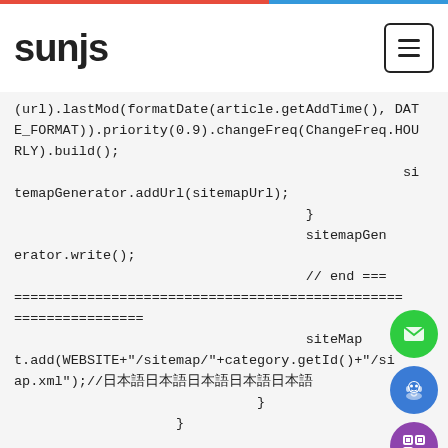sunjs
[Figure (screenshot): Code snippet showing Java sitemap generator code with method chaining: (url).lastMod(formatDate(article.getAddTime(), DATE_FORMAT)).priority(0.9).changeFreq(ChangeFreq.HOURLY).build(); sitemapGenerator.addUrl(sitemapUrl); } sitemapGenerator.write(); // end ===...=== siteMapt.add(WEBSITE+"/sitemap/"+category.getId()+"/sitemap.xml");//日本語 } } //TODO //日本語 - list 의 url日本語s itemap日本語list日本語]